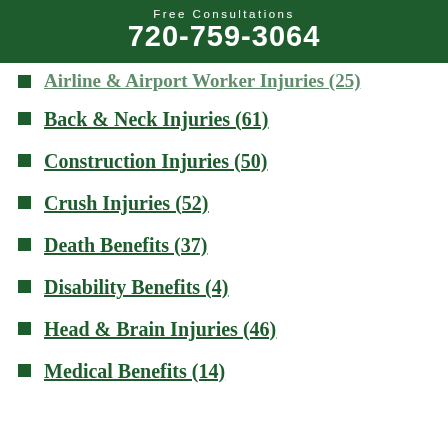Free Consultations
720-759-3064
Airline & Airport Worker Injuries (25)
Back & Neck Injuries (61)
Construction Injuries (50)
Crush Injuries (52)
Death Benefits (37)
Disability Benefits (4)
Head & Brain Injuries (46)
Medical Benefits (14)